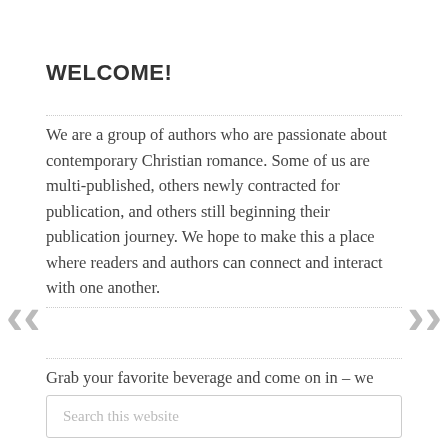WELCOME!
We are a group of authors who are passionate about contemporary Christian romance. Some of us are multi-published, others newly contracted for publication, and others still beginning their publication journey. We hope to make this a place where readers and authors can connect and interact with one another.
Grab your favorite beverage and come on in – we can't wait to meet you.